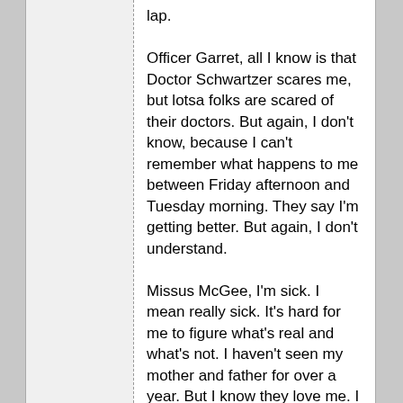lap.
Officer Garret, all I know is that Doctor Schwartzer scares me, but lotsa folks are scared of their doctors. But again, I don't know, because I can't remember what happens to me between Friday afternoon and Tuesday morning. They say I'm getting better. But again, I don't understand.
Missus McGee, I'm sick. I mean really sick. It's hard for me to figure what's real and what's not. I haven't seen my mother and father for over a year. But I know they love me. I can't